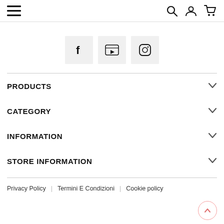Navigation header with hamburger menu, search, account, and cart icons
[Figure (illustration): Three social media icon boxes: Facebook (f), YouTube, Instagram]
PRODUCTS
CATEGORY
INFORMATION
STORE INFORMATION
Privacy Policy | Termini E Condizioni | Cookie policy